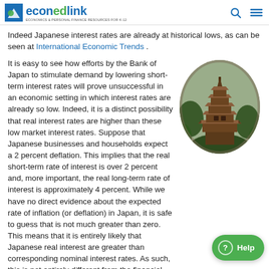econedlink — Economics & Personal Finance Resources for K-12
Indeed Japanese interest rates are already at historical lows, as can be seen at International Economic Trends .
It is easy to see how efforts by the Bank of Japan to stimulate demand by lowering short-term interest rates will prove unsuccessful in an economic setting in which interest rates are already so low. Indeed, it is a distinct possibility that real interest rates are higher than these low market interest rates. Suppose that Japanese businesses and households expect a 2 percent deflation. This implies that the real short-term rate of interest is over 2 percent and, more important, the real long-term rate of interest is approximately 4 percent. While we have no direct evidence about the expected rate of inflation (or deflation) in Japan, it is safe to guess that is not much greater than zero. This means that it is entirely likely that Japanese real interest are greater than corresponding nominal interest rates. As such, this is not entirely different from the financial market conditions experienced in the U.S. Great Depression in the 1930s.
[Figure (photo): A Japanese pagoda temple building surrounded by trees, displayed in a circular/oval crop.]
Negative Market Rates of Interest?